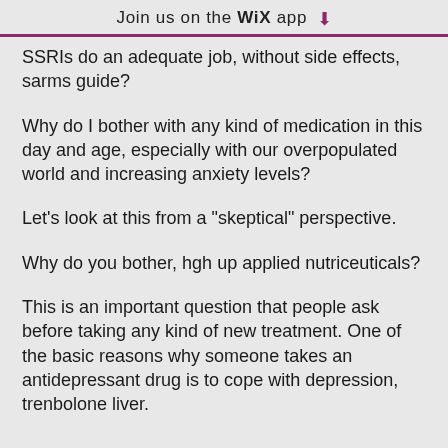Join us on the WiX app ↓
SSRIs do an adequate job, without side effects, sarms guide?
Why do I bother with any kind of medication in this day and age, especially with our overpopulated world and increasing anxiety levels?
Let's look at this from a "skeptical" perspective.
Why do you bother, hgh up applied nutriceuticals?
This is an important question that people ask before taking any kind of new treatment. One of the basic reasons why someone takes an antidepressant drug is to cope with depression, trenbolone liver.